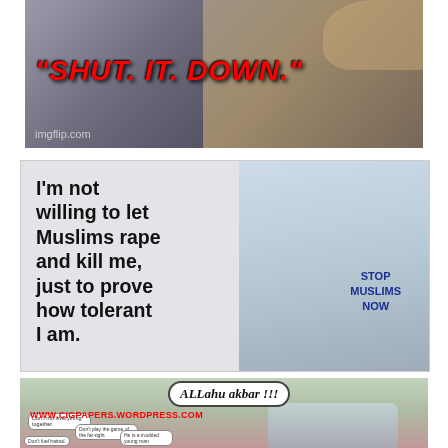[Figure (photo): Top meme image: man on phone with large red bold italic text reading "SHUT. IT. DOWN." and imgflip.com watermark]
[Figure (photo): Middle meme image: woman in blue t-shirt reading STOP MUSLIMS NOW with text overlay: I'm not willing to let Muslims rape and kill me, just to prove how tolerant I am.]
[Figure (illustration): Bottom cartoon panel showing car attack scene with ALLahu akbar !!! speech bubble and www.cigpapers.wordpress.com URL, with small speech bubbles from bystanders]